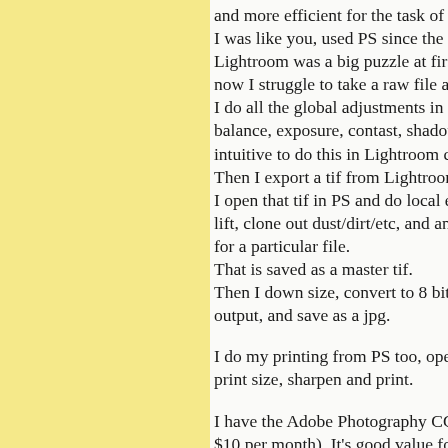and more efficient for the task of tu... I was like you, used PS since the ear... Lightroom was a big puzzle at first, ... now I struggle to take a raw file and ... I do all the global adjustments in Li... balance, exposure, contast, shadows ... intuitive to do this in Lightroom con... Then I export a tif from Lightroom. I open that tif in PS and do local edi... lift, clone out dust/dirt/etc, and any c... for a particular file. That is saved as a master tif. Then I down size, convert to 8 bit, c... output, and save as a jpg. I do my printing from PS too, open n... print size, sharpen and print. I have the Adobe Photography CC su... $10 per month). It's good value for n...